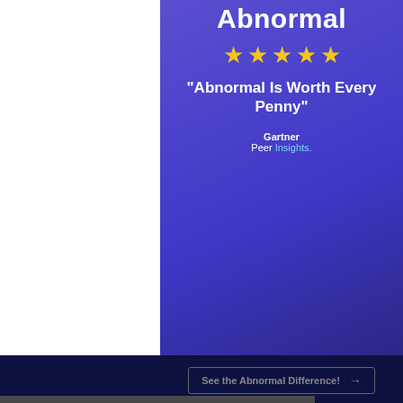[Figure (screenshot): Purple banner with Abnormal logo, 5 stars, quote 'Abnormal Is Worth Every Penny', Gartner Peer Insights branding, and a 'See the Abnormal Difference!' CTA button on dark navy background]
Our website uses cookies. Cookies enable us to provide the best experience possible and help us understand how visitors use our website. By browsing bankinfosecurity.com, you agree to our use of cookies.
RESOUR
Live Webinar | BEC: Did You Get Trapped in That Conversation?